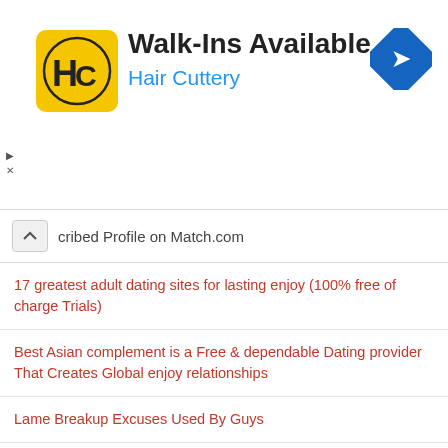[Figure (logo): Hair Cuttery advertisement banner with HC logo, Walk-Ins Available text, and navigation icon]
cribed Profile on Match.com
17 greatest adult dating sites for lasting enjoy (100% free of charge Trials)
Best Asian complement is a Free & dependable Dating provider That Creates Global enjoy relationships
Lame Breakup Excuses Used By Guys
One College Student: Helping Individuals Put an End to Sexual Violence
Can Divorced Men Purchase Young Women?
Union Matches